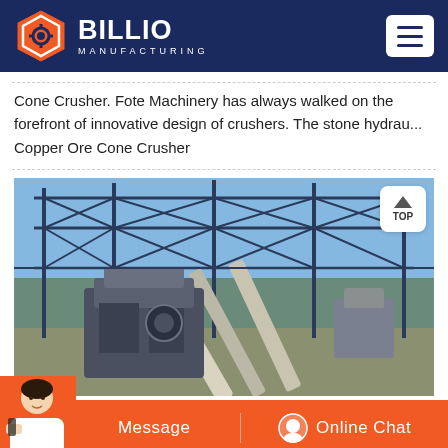BILLIO MANUFACTURING
Cone Crusher. Fote Machinery has always walked on the forefront of innovative design of crushers. The stone hydrau... Copper Ore Cone Crusher
[Figure (photo): Industrial mining/crushing facility with steel truss roof structure, conveyor belts, and heavy machinery photographed against a blue sky]
Message   Online Chat